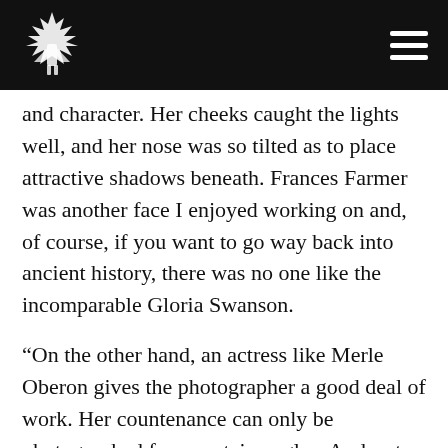[Logo] [Navigation menu]
and character. Her cheeks caught the lights well, and her nose was so tilted as to place attractive shadows beneath. Frances Farmer was another face I enjoyed working on and, of course, if you want to go way back into ancient history, there was no one like the incomparable Gloria Swanson.
“On the other hand, an actress like Merle Oberon gives the photographer a good deal of work. Her countenance can only be photographed from certain angles. And as to clothes, her body requires that she wear